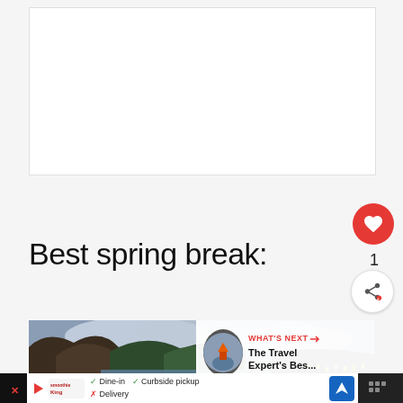[Figure (other): White card placeholder/ad area at top of page]
Best spring break:
[Figure (other): Heart/like button (red circle with heart icon) and share button with count 1]
[Figure (photo): Scenic photo of a mountain lake with hills and town lights at dusk/night, partially visible]
WHAT'S NEXT → The Travel Expert's Bes...
[Figure (other): Advertisement banner: Smoothie King logo, Dine-in checkmark, Curbside pickup checkmark, Delivery with X, navigation icon]